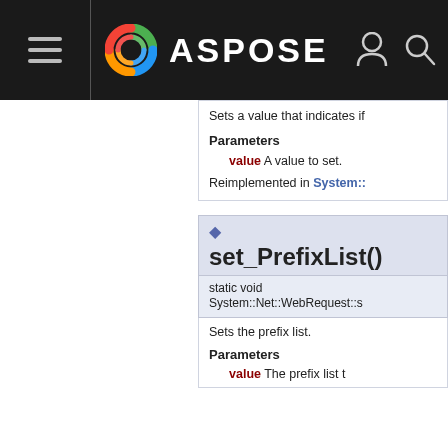ASPOSE
Sets a value that indicates if
Parameters
value A value to set.
Reimplemented in System::
set_PrefixList()
static void System::Net::WebRequest::s
Sets the prefix list.
Parameters
value The prefix list t